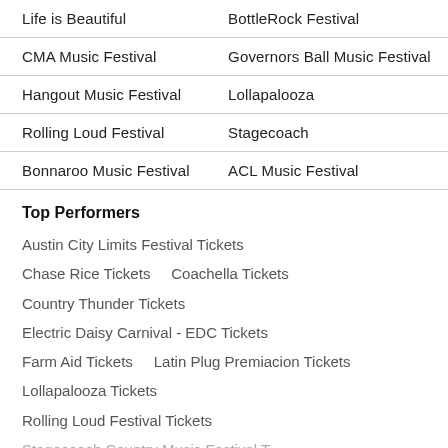| Life is Beautiful | BottleRock Festival |
| CMA Music Festival | Governors Ball Music Festival |
| Hangout Music Festival | Lollapalooza |
| Rolling Loud Festival | Stagecoach |
| Bonnaroo Music Festival | ACL Music Festival |
Top Performers
Austin City Limits Festival Tickets
Chase Rice Tickets    Coachella Tickets
Country Thunder Tickets
Electric Daisy Carnival - EDC Tickets
Farm Aid Tickets    Latin Plug Premiacion Tickets
Lollapalooza Tickets
Rolling Loud Festival Tickets
Stagecoach Country Music Festival T…